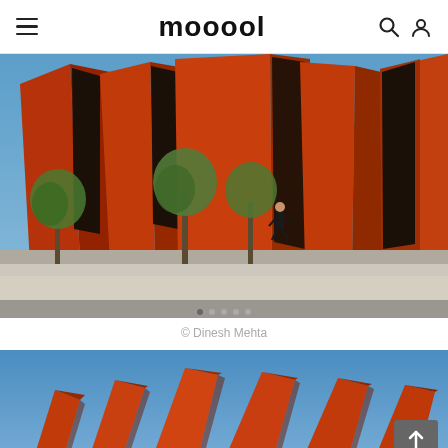mooool
[Figure (photo): Exterior view of a modern building with bold red/terracotta angular facades and large vertical dark window slits. Trees in foreground, blue sky, person walking on sidewalk.]
© Dinesh Mehta
[Figure (photo): Aerial or lower-angle view of the same red terracotta angular building against a clear blue sky, showing the jagged roofline profile.]